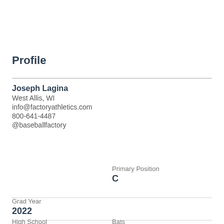Profile
Joseph Lagina
West Allis, WI
info@factoryathletics.com
800-641-4487
@baseballfactory
Primary Position
C
Grad Year
2022
High School
Bats